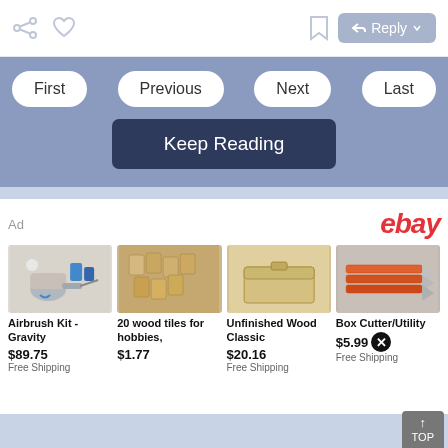Share | Heart | Bookmark | Reply
First
Previous
Next
Last
Keep Reading
Ad
[Figure (logo): eBay logo in red italic text]
[Figure (photo): Airbrush Kit - Gravity product image]
Airbrush Kit - Gravity
$89.75
Free Shipping
[Figure (photo): 20 wood tiles for hobbies product image]
20 wood tiles for hobbies,
$1.77
[Figure (photo): Unfinished Wood Classic product image]
Unfinished Wood Classic
$20.16
Free Shipping
[Figure (photo): Box Cutter/Utility product image]
Box Cutter/Utility
$5.99
Free Shipping
TOP